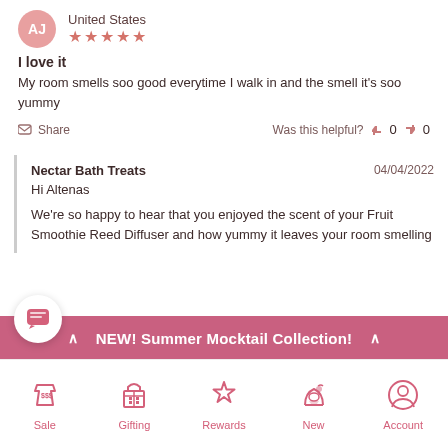AJ — United States — ★★★★★
I love it
My room smells soo good everytime I walk in and the smell it's soo yummy
Share — Was this helpful? 0 0
Nectar Bath Treats — 04/04/2022
Hi Altenas
We're so happy to hear that you enjoyed the scent of your Fruit Smoothie Reed Diffuser and how yummy it leaves your room smelling
NEW! Summer Mocktail Collection!
Sale
Gifting
Rewards
New
Account